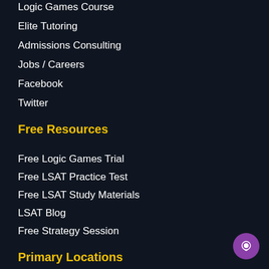Logic Games Course
Elite Tutoring
Admissions Consulting
Jobs / Careers
Facebook
Twitter
Free Resources
Free Logic Games Trial
Free LSAT Practice Test
Free LSAT Study Materials
LSAT Blog
Free Strategy Session
Primary Locations